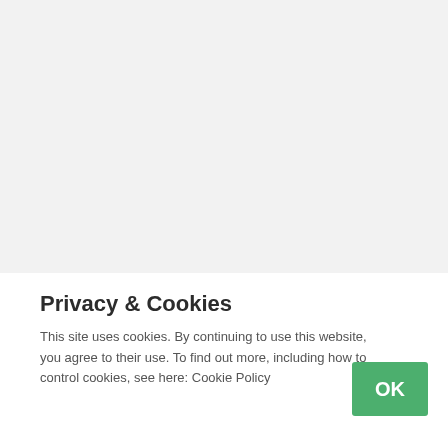James Anderson and Stuart Broad, the most prolific wicket-takers in English test history, will return to the team.
Veterans fast bowlers James Anderson and Stuart Broad...
Privacy & Cookies
This site uses cookies. By continuing to use this website, you agree to their use. To find out more, including how to control cookies, see here: Cookie Policy